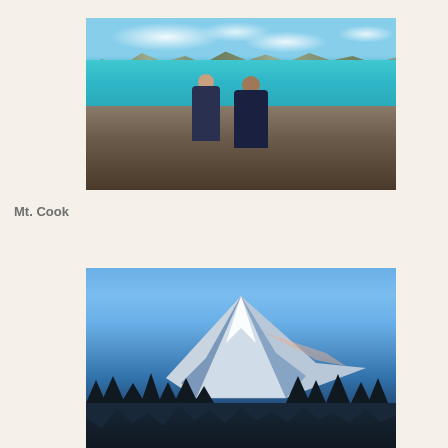[Figure (photo): Two people posing in front of a turquoise lake with mountains and cloudy sky in the background, sitting on rocky ground.]
Mt. Cook
[Figure (photo): Snow-capped mountain peaks (Mt. Cook) against a clear blue sky, with dark conifer trees in the foreground.]